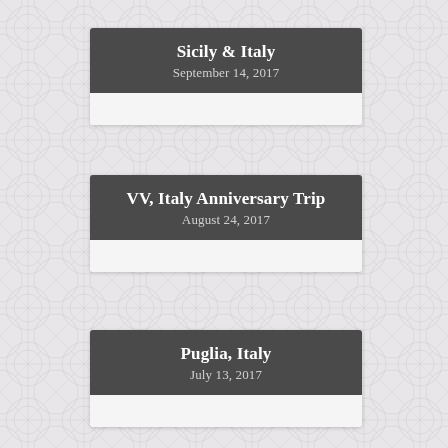Sicily & Italy
September 14, 2017
VV, Italy Anniversary Trip
August 24, 2017
Puglia, Italy
July 13, 2017